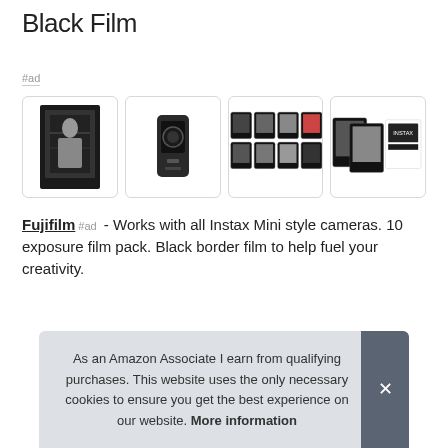Black Film
#ad
[Figure (photo): Four product images of Fujifilm Instax Mini Black Film: a framed photo print, the camera/film device, a grid of small photo prints with black borders, and film pack packaging]
Fujifilm #ad - Works with all Instax Mini style cameras. 10 exposure film pack. Black border film to help fuel your creativity.
As an Amazon Associate I earn from qualifying purchases. This website uses the only necessary cookies to ensure you get the best experience on our website. More information